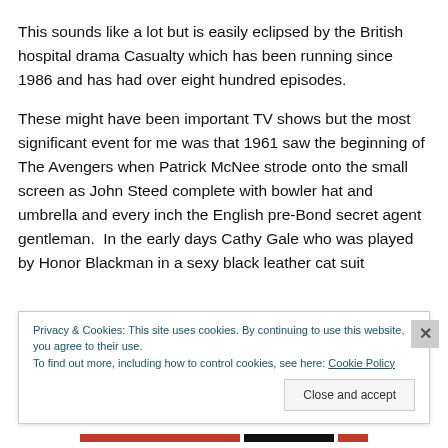This sounds like a lot but is easily eclipsed by the British hospital drama Casualty which has been running since 1986 and has had over eight hundred episodes.
These might have been important TV shows but the most significant event for me was that 1961 saw the beginning of The Avengers when Patrick McNee strode onto the small screen as John Steed complete with bowler hat and umbrella and every inch the English pre-Bond secret agent gentleman. In the early days Cathy Gale who was played by Honor Blackman in a sexy black leather cat suit
Privacy & Cookies: This site uses cookies. By continuing to use this website, you agree to their use.
To find out more, including how to control cookies, see here: Cookie Policy
Close and accept